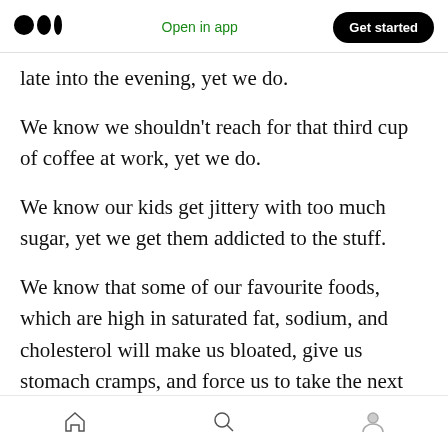Medium logo | Open in app | Get started
late into the evening, yet we do.
We know we shouldn't reach for that third cup of coffee at work, yet we do.
We know our kids get jittery with too much sugar, yet we get them addicted to the stuff.
We know that some of our favourite foods, which are high in saturated fat, sodium, and cholesterol will make us bloated, give us stomach cramps, and force us to take the next day off from work. Yet we keep going back to the stuff week after
Home | Search | Profile